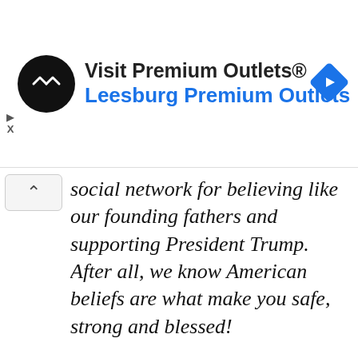[Figure (screenshot): Advertisement banner for Visit Premium Outlets® – Leesburg Premium Outlets, with a black circular logo with double-arrow symbol on left, navigation arrow diamond icon on right, and a play/X control on far left.]
social network for believing like our founding fathers and supporting President Trump. After all, we know American beliefs are what make you safe, strong and blessed!
USA.Life is for all people who love America!
With USA.Life, you can discuss important issues that are censored elsewhere – such as life, the Second Amendment, border security,